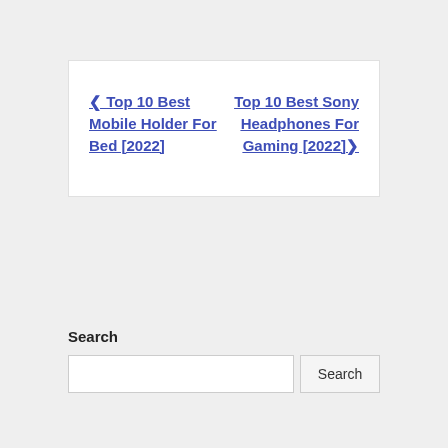← Top 10 Best Mobile Holder For Bed [2022]
Top 10 Best Sony Headphones For Gaming [2022] →
Search